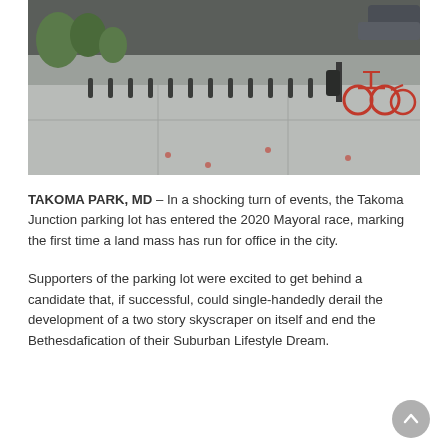[Figure (photo): Outdoor photo of a parking lot / plaza area with bollards along the edge, red bicycles parked in a bike-share rack on the right, trees and a dark building facade in the background, and a car partially visible at top right.]
TAKOMA PARK, MD – In a shocking turn of events, the Takoma Junction parking lot has entered the 2020 Mayoral race, marking the first time a land mass has run for office in the city.
Supporters of the parking lot were excited to get behind a candidate that, if successful, could single-handedly derail the development of a two story skyscraper on itself and end the Bethesdafication of their Suburban Lifestyle Dream.